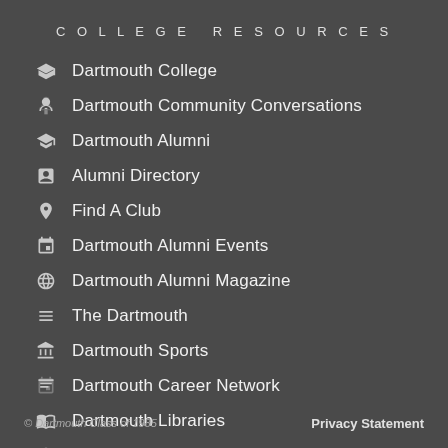COLLEGE RESOURCES
Dartmouth College
Dartmouth Community Conversations
Dartmouth Alumni
Alumni Directory
Find A Club
Dartmouth Alumni Events
Dartmouth Alumni Magazine
The Dartmouth
Dartmouth Sports
Dartmouth Career Network
Dartmouth Libraries
Hop @ Home
Faculty Lectures
© Dartmouth Class of 1985    Privacy Statement